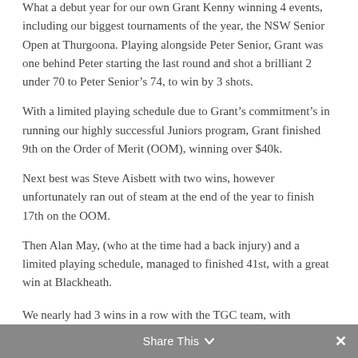What a debut year for our own Grant Kenny winning 4 events, including our biggest tournaments of the year, the NSW Senior Open at Thurgoona. Playing alongside Peter Senior, Grant was one behind Peter starting the last round and shot a brilliant 2 under 70 to Peter Senior's 74, to win by 3 shots.
With a limited playing schedule due to Grant's commitment's in running our highly successful Juniors program, Grant finished 9th on the Order of Merit (OOM), winning over $40k.
Next best was Steve Aisbett with two wins, however unfortunately ran out of steam at the end of the year to finish 17th on the OOM.
Then Alan May, (who at the time had a back injury) and a limited playing schedule, managed to finished 41st, with a great win at Blackheath.
We nearly had 3 wins in a row with the TGC team, with
Share This